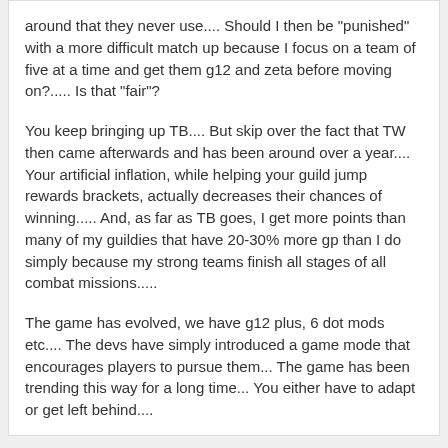around that they never use.... Should I then be "punished" with a more difficult match up because I focus on a team of five at a time and get them g12 and zeta before moving on?..... Is that "fair"?

You keep bringing up TB.... But skip over the fact that TW then came afterwards and has been around over a year.... Your artificial inflation, while helping your guild jump rewards brackets, actually decreases their chances of winning..... And, as far as TB goes, I get more points than many of my guildies that have 20-30% more gp than I do simply because my strong teams finish all stages of all combat missions.....

The game has evolved, we have g12 plus, 6 dot mods etc.... The devs have simply introduced a game mode that encourages players to pursue them... The game has been trending this way for a long time... You either have to adapt or get left behind....
Kyno
December 2018